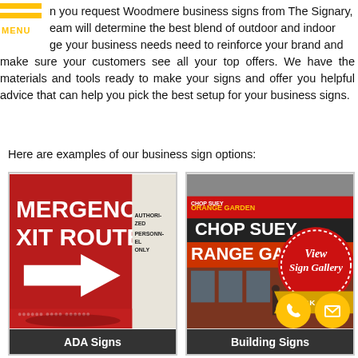When you request Woodmere business signs from The Signary, our team will determine the best blend of outdoor and indoor signage your business needs need to reinforce your brand and make sure your customers see all your top offers. We have the materials and tools ready to make your signs and offer you helpful advice that can help you pick the best setup for your business signs.
Here are examples of our business sign options:
[Figure (photo): Photo of ADA Emergency Exit Route sign in red with white arrow, and an Authorized Personnel Only sign in background]
ADA Signs
[Figure (photo): Photo of building exterior with Chop Suey and Orange Garden signage, with View Sign Gallery red badge and gold Click Here ribbon overlay]
Building Signs